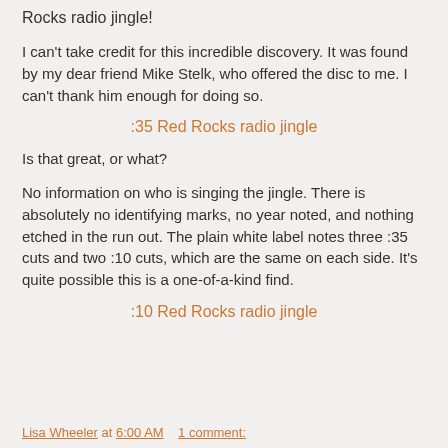Rocks radio jingle!
I can't take credit for this incredible discovery. It was found by my dear friend Mike Stelk, who offered the disc to me. I can't thank him enough for doing so.
:35 Red Rocks radio jingle
Is that great, or what?
No information on who is singing the jingle. There is absolutely no identifying marks, no year noted, and nothing etched in the run out. The plain white label notes three :35 cuts and two :10 cuts, which are the same on each side. It's quite possible this is a one-of-a-kind find.
:10 Red Rocks radio jingle
Lisa Wheeler at 6:00 AM    1 comment: